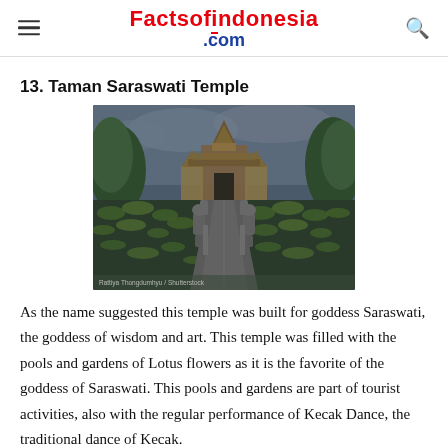Factsofindonesia.com
13. Taman Saraswati Temple
[Figure (photo): Photograph of Taman Saraswati Temple in Bali, Indonesia. A stone pathway leads through a lotus pond toward the ornate Balinese temple gate (candi bentar). Stone statues line the walkway and lotus pads cover the water on both sides. Lush tropical trees frame the temple. Photo credit: Rattiya Thongdumhyu / Shutterstock]
As the name suggested this temple was built for goddess Saraswati, the goddess of wisdom and art. This temple was filled with the pools and gardens of Lotus flowers as it is the favorite of the goddess of Saraswati. This pools and gardens are part of tourist activities, also with the regular performance of Kecak Dance, the traditional dance of Kecak.